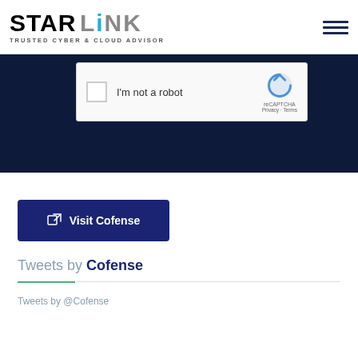[Figure (logo): StarLink logo with text STAR LINK and tagline TRUSTED CYBER & CLOUD ADVISOR]
[Figure (screenshot): Dark navy blue banner with reCAPTCHA widget showing checkbox, I'm not a robot text, and reCAPTCHA logo with Privacy and Terms links]
[Figure (screenshot): Blue button with external link icon and text Visit Cofense]
Tweets by Cofense
Tweets by @Cofense